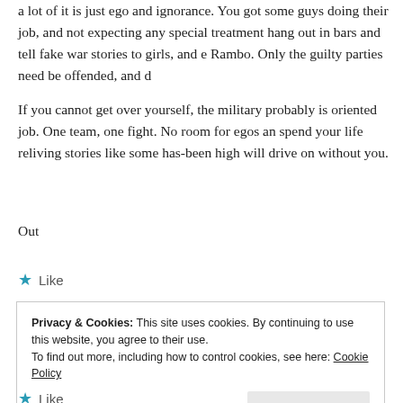a lot of it is just ego and ignorance. You got some guys doing their job, and not expecting any special treatment hang out in bars and tell fake war stories to girls, and e Rambo. Only the guilty parties need be offended, and d
If you cannot get over yourself, the military probably is oriented job. One team, one fight. No room for egos an spend your life reliving stories like some has-been high will drive on without you.
Out
★ Like
Privacy & Cookies: This site uses cookies. By continuing to use this website, you agree to their use.
To find out more, including how to control cookies, see here: Cookie Policy
Close and accept
★ Like